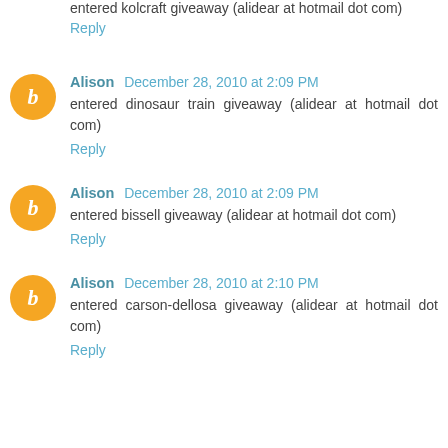entered kolcraft giveaway (alidear at hotmail dot com)
Reply
Alison December 28, 2010 at 2:09 PM
entered dinosaur train giveaway (alidear at hotmail dot com)
Reply
Alison December 28, 2010 at 2:09 PM
entered bissell giveaway (alidear at hotmail dot com)
Reply
Alison December 28, 2010 at 2:10 PM
entered carson-dellosa giveaway (alidear at hotmail dot com)
Reply